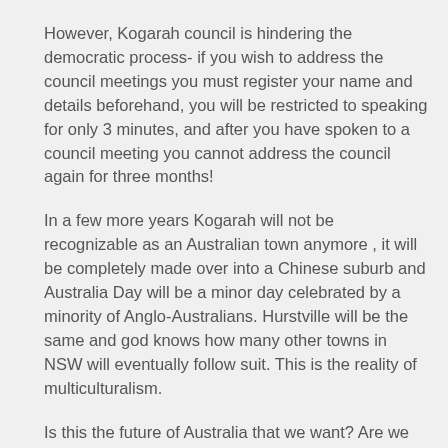consituents of the Kogarah electorate.
However, Kogarah council is hindering the democratic process- if you wish to address the council meetings you must register your name and details beforehand, you will be restricted to speaking for only 3 minutes, and after you have spoken to a council meeting you cannot address the council again for three months!
In a few more years Kogarah will not be recognizable as an Australian town anymore , it will be completely made over into a Chinese suburb and Australia Day will be a minor day celebrated by a minority of Anglo-Australians. Hurstville will be the same and god knows how many other towns in NSW will eventually follow suit. This is the reality of multiculturalism.
Is this the future of Australia that we want? Are we just going whinge and complain, but let it all happen anyway?
Join us to protest this anti-democratic, anti-Australian council!